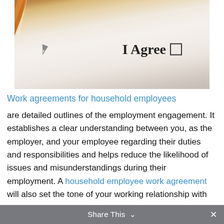[Figure (photo): Close-up photo of a pen resting on a document showing the text 'I Agree' with an empty checkbox next to it]
Work agreements for household employees
are detailed outlines of the employment engagement. It establishes a clear understanding between you, as the employer, and your employee regarding their duties and responsibilities and helps reduce the likelihood of issues and misunderstandings during their employment. A household employee work agreement will also set the tone of your working relationship with open
Share This